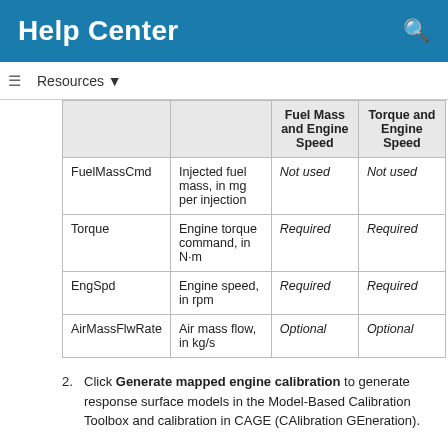Help Center
|  |  | Fuel Mass and Engine Speed | Torque and Engine Speed |
| --- | --- | --- | --- |
| FuelMassCmd | Injected fuel mass, in mg per injection | Not used | Not used |
| Torque | Engine torque command, in N·m | Required | Required |
| EngSpd | Engine speed, in rpm | Required | Required |
| AirMassFlwRate | Air mass flow, in kg/s | Optional | Optional |
Click Generate mapped engine calibration to generate response surface models in the Model-Based Calibration Toolbox and calibration in CAGE (CAlibration GEneration).